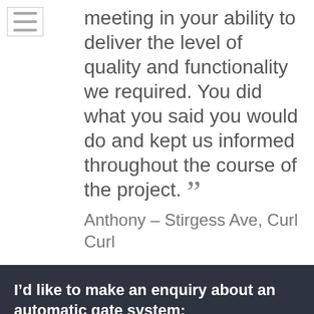[Figure (other): Hamburger menu icon (three horizontal lines)]
meeting in your ability to deliver the level of quality and functionality we required. You did what you said you would do and kept us informed throughout the course of the project. ”
Anthony – Stirgess Ave, Curl Curl
I’d like to make an enquiry about an automatic gate system:
First Name
Last Name